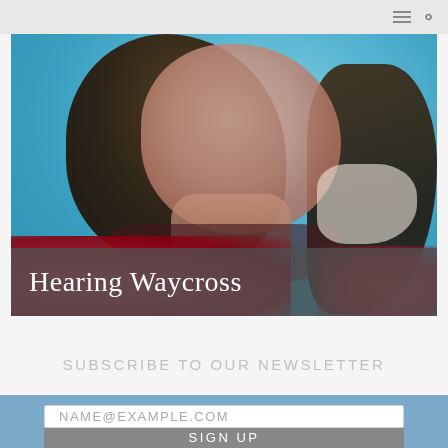[Figure (illustration): Abstract expressionist painted portrait of a person with dark hair against a teal/blue background, with red floral elements at the bottom. Title overlay bar reads 'Hearing Waycross'.]
Hearing Waycross
SUBSCRIBE TO OUR NEWSLETTER
NAME@EXAMPLE.COM
SIGN UP